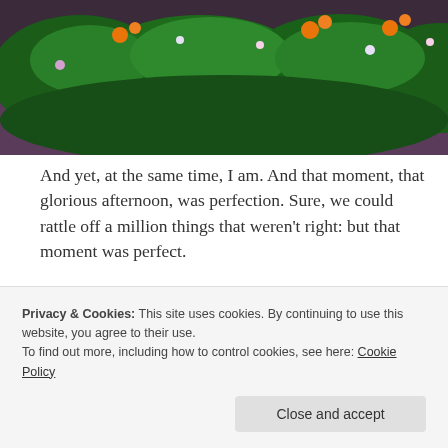[Figure (photo): Screenshot from a video game showing lush green foliage, bushes with orange and colorful flowers against a dark background.]
And yet, at the same time, I am. And that moment, that glorious afternoon, was perfection. Sure, we could rattle off a million things that weren't right: but that moment was perfect.
As is every moment, for inside each moment, perfection lies.
[Figure (photo): Screenshot from a video game showing a tall dark green pine tree against a purple-blue sky with warm-tinted clouds.]
Privacy & Cookies: This site uses cookies. By continuing to use this website, you agree to their use.
To find out more, including how to control cookies, see here: Cookie Policy
Close and accept